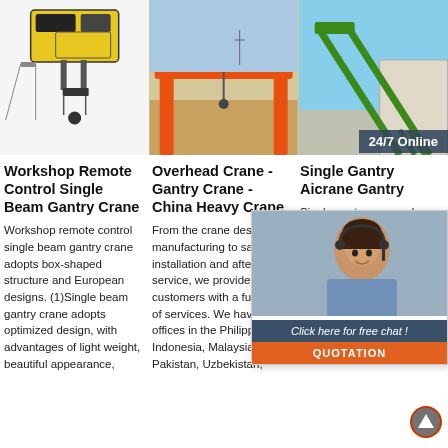[Figure (photo): Electric hoist / remote control single beam gantry crane unit, yellow and black, on white background]
[Figure (photo): Orange overhead gantry crane standing outdoors on sandy ground]
[Figure (photo): Green single girder gantry crane structure outdoors near a building]
Workshop Remote Control Single Beam Gantry Crane
Workshop remote control single beam gantry crane adopts box-shaped structure and European designs. (1)Single beam gantry crane adopts optimized design, with advantages of light weight, beautiful appearance,
Overhead Crane - Gantry Crane - China Heavy Crane
From the crane design, manufacturing to sales, installation and after-sales service, we provide customers with a full range of services. We have offices in the Philippines, Indonesia, Malaysia, Pakistan, Uzbekistan,
Single Gantry Aicrane Gantry
Single gantry crane, also suggest crane with single main girder and it is used for lifting and transporting materials and goods on different work occasions. The main components of the crane include: main
[Figure (infographic): 24/7 Online chat widget with agent photo and QUOTATION button]